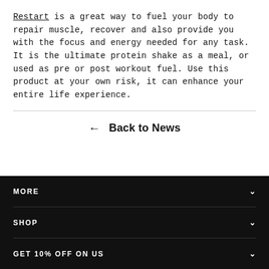Restart is a great way to fuel your body to repair muscle, recover and also provide you with the focus and energy needed for any task. It is the ultimate protein shake as a meal, or used as pre or post workout fuel. Use this product at your own risk, it can enhance your entire life experience.
← Back to News
MORE
SHOP
GET 10% OFF ON US